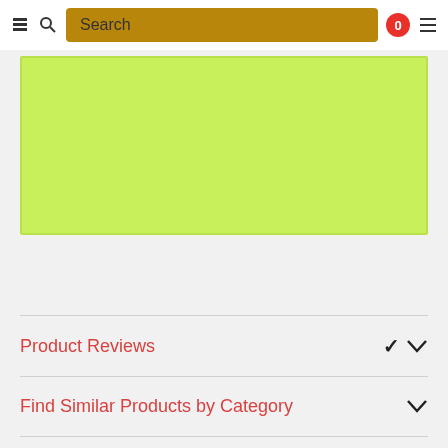Search
[Figure (other): Lime green rectangular placeholder/banner area with light border]
Product Reviews
Find Similar Products by Category
Customers also viewed